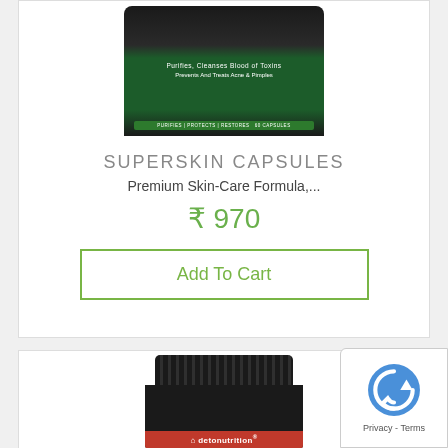[Figure (photo): Top of a dark bottle with green label showing Superskin Capsules product, partially cropped at top]
SUPERSKIN CAPSULES
Premium Skin-Care Formula,...
₹ 970
Add To Cart
[Figure (photo): Dark supplement bottle with black ridged cap and red band at bottom, showing detonutrition brand logo, partially cropped]
[Figure (other): reCAPTCHA privacy badge with Privacy and Terms text]